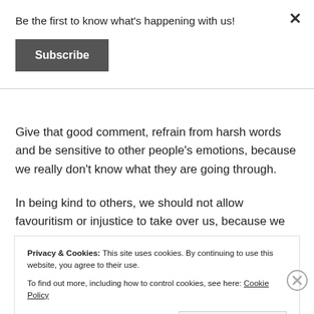Be the first to know what's happening with us!
Subscribe
Give that good comment, refrain from harsh words and be sensitive to other people's emotions, because we really don't know what they are going through.
In being kind to others, we should not allow favouritism or injustice to take over us, because we
Privacy & Cookies: This site uses cookies. By continuing to use this website, you agree to their use.
To find out more, including how to control cookies, see here: Cookie Policy
Close and accept